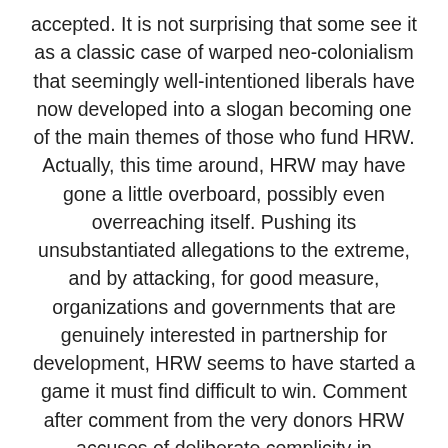accepted. It is not surprising that some see it as a classic case of warped neo-colonialism that seemingly well-intentioned liberals have now developed into a slogan becoming one of the main themes of those who fund HRW. Actually, this time around, HRW may have gone a little overboard, possibly even overreaching itself. Pushing its unsubstantiated allegations to the extreme, and by attacking, for good measure, organizations and governments that are genuinely interested in partnership for development, HRW seems to have started a game it must find difficult to win. Comment after comment from the very donors HRW accuses of deliberate complicity in repression in its latest report, take HRW to task. Following the press release by the Donor Assistance Group denouncing the report last week, individual members of